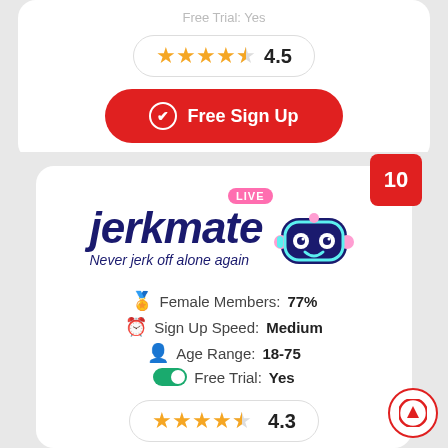[Figure (infographic): Top card partial: rating 4.5 stars and Free Sign Up button]
[Figure (logo): Jerkmate logo with robot mascot and LIVE badge]
Female Members: 77%
Sign Up Speed: Medium
Age Range: 18-75
Free Trial: Yes
[Figure (infographic): Rating pill showing 4.3 stars]
[Figure (infographic): Free Sign Up red button]